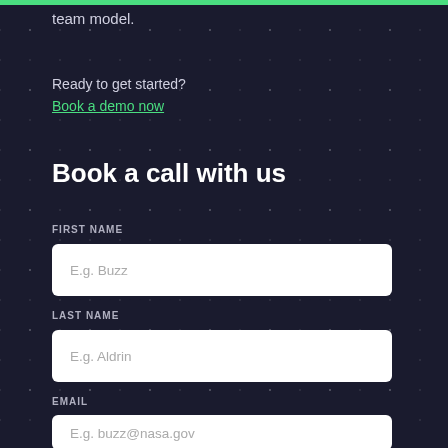team model.
Ready to get started?
Book a demo now
Book a call with us
FIRST NAME
[Figure (other): Text input field with placeholder text 'E.g. Buzz']
LAST NAME
[Figure (other): Text input field with placeholder text 'E.g. Aldrin']
EMAIL
[Figure (other): Text input field with placeholder text 'E.g. buzz@nasa.gov']